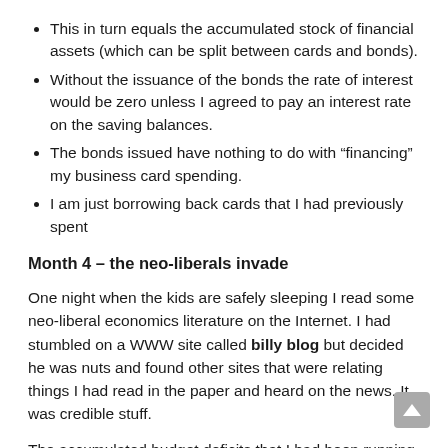This in turn equals the accumulated stock of financial assets (which can be split between cards and bonds).
Without the issuance of the bonds the rate of interest would be zero unless I agreed to pay an interest rate on the saving balances.
The bonds issued have nothing to do with “financing” my business card spending.
I am just borrowing back cards that I had previously spent
Month 4 – the neo-liberals invade
One night when the kids are safely sleeping I read some neo-liberal economics literature on the Internet. I had stumbled on a WWW site called billy blog but decided he was nuts and found other sites that were relating things I had read in the paper and heard on the news. It was credible stuff.
The accumulated budget deficits that I had been running in the first three months started to send shock waves down my